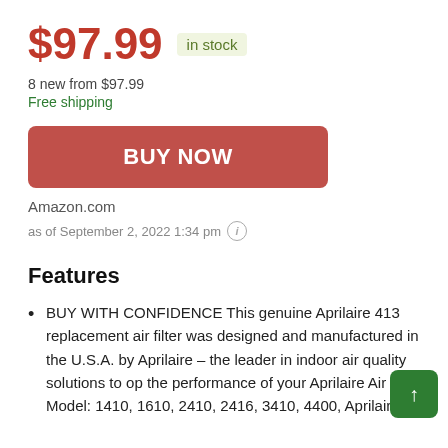$97.99 in stock
8 new from $97.99
Free shipping
BUY NOW
Amazon.com
as of September 2, 2022 1:34 pm ℹ
Features
BUY WITH CONFIDENCE This genuine Aprilaire 413 replacement air filter was designed and manufactured in the U.S.A. by Aprilaire – the leader in indoor air quality solutions to op... the performance of your Aprilaire Air Pur... Model: 1410, 1610, 2410, 2416, 3410, 4400, Aprilaire